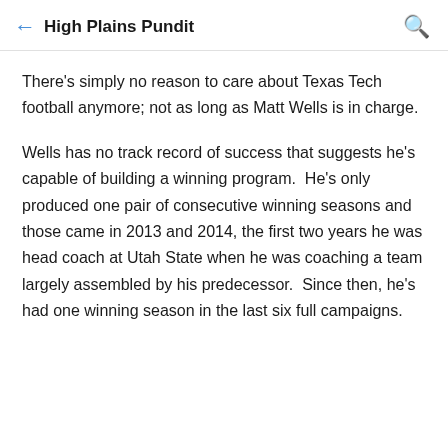High Plains Pundit
There's simply no reason to care about Texas Tech football anymore; not as long as Matt Wells is in charge.
Wells has no track record of success that suggests he's capable of building a winning program.  He's only produced one pair of consecutive winning seasons and those came in 2013 and 2014, the first two years he was head coach at Utah State when he was coaching a team largely assembled by his predecessor.  Since then, he's had one winning season in the last six full campaigns.